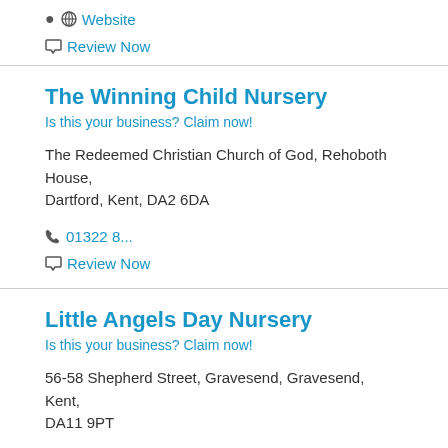🌐 Website
💬 Review Now
The Winning Child Nursery
Is this your business? Claim now!
The Redeemed Christian Church of God, Rehoboth House, Dartford, Kent, DA2 6DA
📞 01322 8...
💬 Review Now
Little Angels Day Nursery
Is this your business? Claim now!
56-58 Shepherd Street, Gravesend, Gravesend, Kent, DA11 9PT